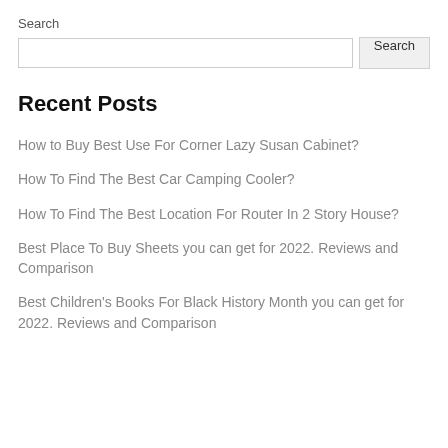Search
Recent Posts
How to Buy Best Use For Corner Lazy Susan Cabinet?
How To Find The Best Car Camping Cooler?
How To Find The Best Location For Router In 2 Story House?
Best Place To Buy Sheets you can get for 2022. Reviews and Comparison
Best Children's Books For Black History Month you can get for 2022. Reviews and Comparison